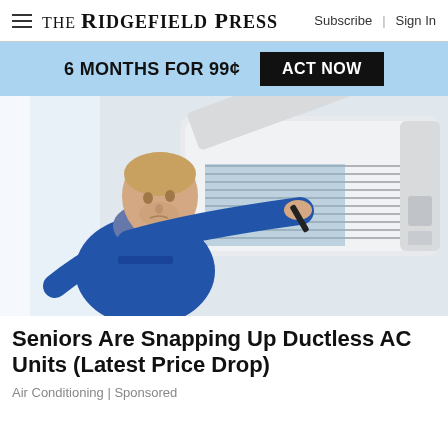THE RIDGEFIELD PRESS  Subscribe  Sign In
6 MONTHS FOR 99¢  ACT NOW
[Figure (photo): A technician in a blue uniform servicing an open wall-mounted ductless AC unit, holding a tool and inspecting the interior.]
Seniors Are Snapping Up Ductless AC Units (Latest Price Drop)
Air Conditioning | Sponsored